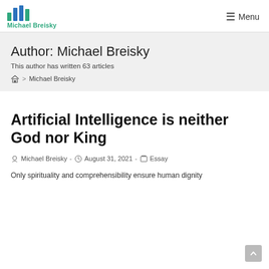Michael Breisky — Menu
Author: Michael Breisky
This author has written 63 articles
🏠 > Michael Breisky
Artificial Intelligence is neither God nor King
Michael Breisky - August 31, 2021 - Essay
Only spirituality and comprehensibility ensure human dignity